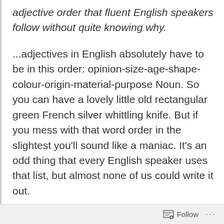adjective order that fluent English speakers follow without quite knowing why.
...adjectives in English absolutely have to be in this order: opinion-size-age-shape-colour-origin-material-purpose Noun. So you can have a lovely little old rectangular green French silver whittling knife. But if you mess with that word order in the slightest you'll sound like a maniac. It's an odd thing that every English speaker uses that list, but almost none of us could write it out.
Follow ...